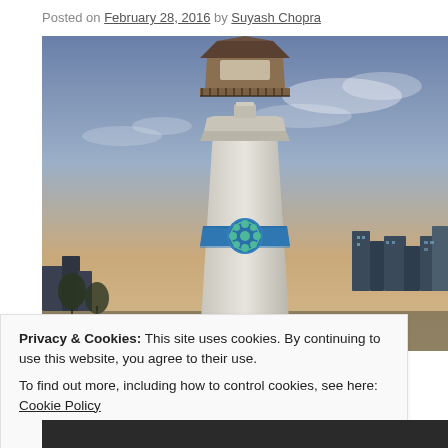Posted on February 28, 2016 by Suyash Chopra
[Figure (photo): A tall white lighthouse tower with a blue band and green floral emblem, hexagonal lantern room with railing at top, set against a dramatic dusk sky with city skyline visible in background.]
Privacy & Cookies: This site uses cookies. By continuing to use this website, you agree to their use.
To find out more, including how to control cookies, see here: Cookie Policy
Close and accept